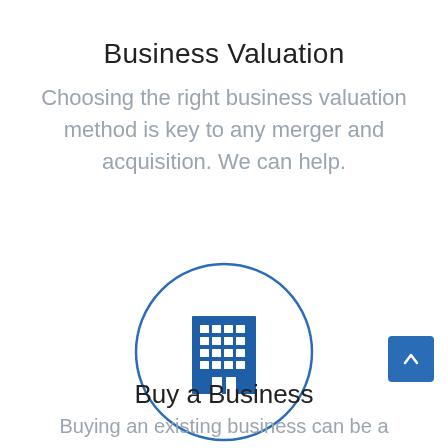Business Valuation
Choosing the right business valuation method is key to any merger and acquisition. We can help.
[Figure (illustration): A blue circle outline containing a blue building/office icon (grid of windows on a rectangular building shape)]
Buy a Business
Buying an existing business can be a